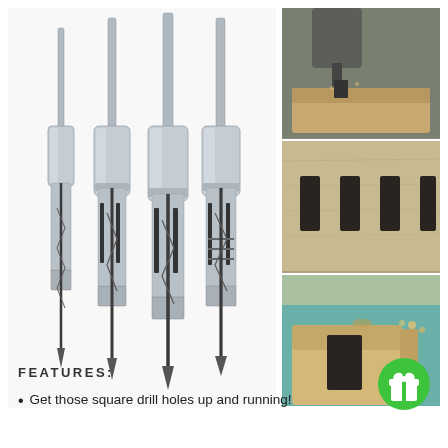[Figure (photo): Four square hole drill bits / mortise chisels arranged side by side on white background, increasing in size from left to right. Each has a long cylindrical shank, a chunky mid-section collar, and a square hollow chisel outer casing with a twist drill bit inside.]
[Figure (photo): Collage of three photos on the right side: top photo shows a mortise chisel being used in a drill press on a wooden board; middle photo shows square holes cut into a light wood board; bottom photo shows a square chisel mortise being formed in a wood block, with sawdust visible.]
FEATURES:
Get those square drill holes up and running!
[Figure (illustration): Green circle with a white gift/present icon (bow on top of a box).]